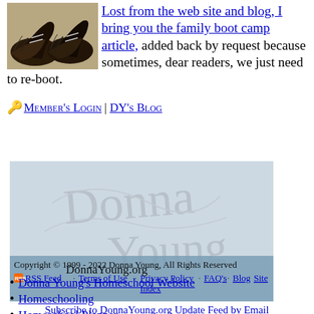Lost from the web site and blog, I bring you the family boot camp article, added back by request because sometimes, dear readers, we just need to re-boot.
🔑 MEMBER'S LOGIN | DY'S BLOG
[Figure (illustration): Donna Young signature illustration on blue-grey background with copyright notice and navigation links]
Subscribe to DonnaYoung.org Update Feed by Email
DonnaYoung.org
Donna Young's Homeschool Website
Homeschooling
Homeschool Planner